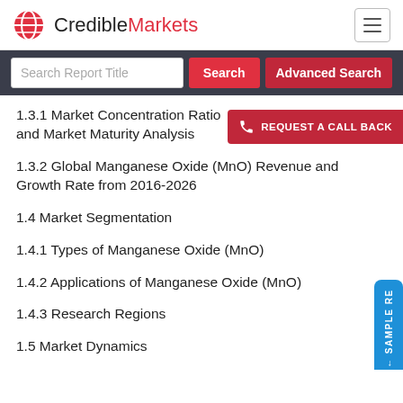CredibleMarkets
Search Report Title | Search | Advanced Search
1.3.1 Market Concentration Ratio and Market Maturity Analysis
1.3.2 Global Manganese Oxide (MnO) Revenue and Growth Rate from 2016-2026
1.4 Market Segmentation
1.4.1 Types of Manganese Oxide (MnO)
1.4.2 Applications of Manganese Oxide (MnO)
1.4.3 Research Regions
1.5 Market Dynamics